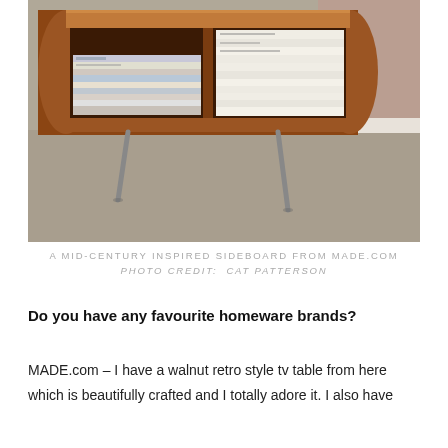[Figure (photo): A mid-century inspired sideboard/TV table made of walnut-toned wood with rounded ends, two open shelf compartments holding stacked magazines, and angled metal legs, photographed from the front-low angle on a grey carpet.]
A MID-CENTURY INSPIRED SIDEBOARD FROM MADE.COM
PHOTO CREDIT:  CAT PATTERSON
Do you have any favourite homeware brands?
MADE.com – I have a walnut retro style tv table from here which is beautifully crafted and I totally adore it. I also have